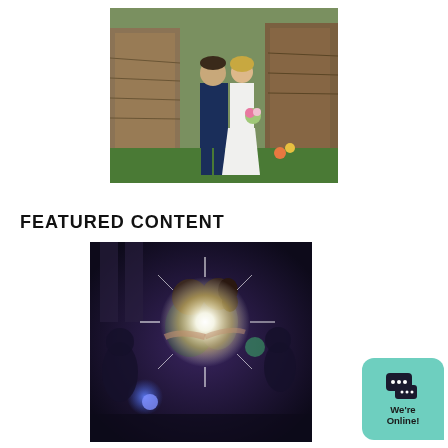[Figure (photo): A bride and groom standing together in front of a rustic wooden barn. The groom wears a navy suit and the bride wears a white wedding gown holding a bouquet.]
FEATURED CONTENT
[Figure (photo): A couple sharing a first dance kiss at their wedding reception, with a bright flash of light between them and guests surrounding them in a dimly lit venue.]
[Figure (other): Chat widget with speech bubble icon and text 'We're Online!']